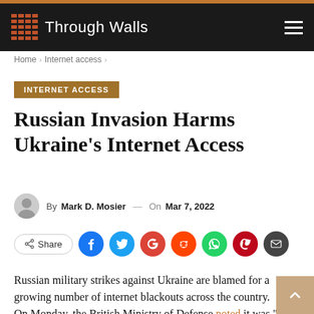Through Walls
Home > Internet access >
INTERNET ACCESS
Russian Invasion Harms Ukraine's Internet Access
By Mark D. Mosier — On Mar 7, 2022
Share
Russian military strikes against Ukraine are blamed for a growing number of internet blackouts across the country.
On Monday, the British Ministry of Defense noted it was "very